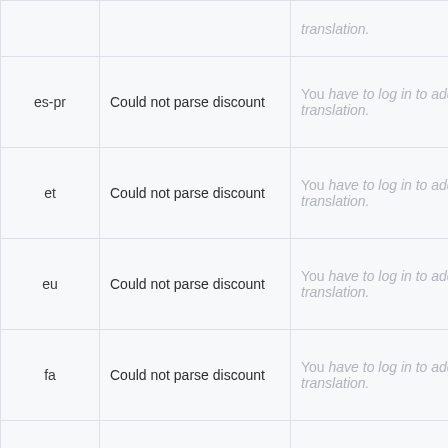| Language | Message | Translation | Action |
| --- | --- | --- | --- |
| es-pr | Could not parse discount | You have to log in to add a translation. | Details |
| et | Could not parse discount | You have to log in to add a translation. | Details |
| eu | Could not parse discount | You have to log in to add a translation. | Details |
| fa | Could not parse discount | You have to log in to add a translation. | Details |
| fi | Could not parse discount | You have to log in to add a translation. | Details |
| (partial) | Could not parse... | You have to log in... |  |